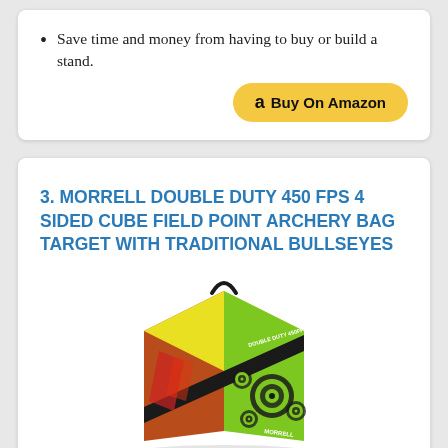Save time and money from having to buy or build a stand.
[Figure (other): Buy On Amazon button with Amazon logo]
3. MORRELL DOUBLE DUTY 450 FPS 4 SIDED CUBE FIELD POINT ARCHERY BAG TARGET WITH TRADITIONAL BULLSEYES
[Figure (photo): Photo of Morrell Double Duty 450 FPS archery bag target, a yellow and green cube-shaped target with multiple bullseye patterns on its face]
ARCHERY BAG TARGET: Field point